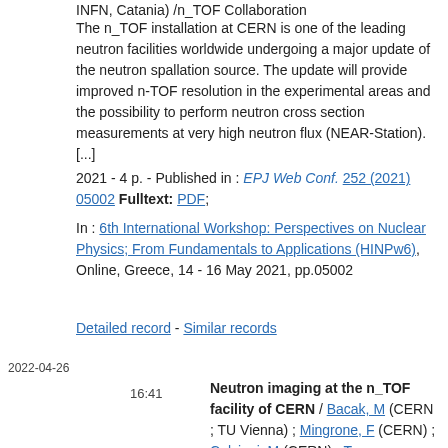INFN, Catania) /n_TOF Collaboration
The n_TOF installation at CERN is one of the leading neutron facilities worldwide undergoing a major update of the neutron spallation source. The update will provide improved n-TOF resolution in the experimental areas and the possibility to perform neutron cross section measurements at very high neutron flux (NEAR-Station). [...]
2021 - 4 p. - Published in : EPJ Web Conf. 252 (2021) 05002 Fulltext: PDF;
In : 6th International Workshop: Perspectives on Nuclear Physics; From Fundamentals to Applications (HINPw6), Online, Greece, 14 - 16 May 2021, pp.05002
Detailed record - Similar records
2022-04-26
16:41
Neutron imaging at the n_TOF facility of CERN / Bacak, M (CERN ; TU Vienna) ; Mingrone, F (CERN) ; Calviani, M (CERN) ; Torregrosa Martin, C (CERN) ; Aberle, O (CERN) ; Chiaveri, E (CERN) ; Fornaciero, F